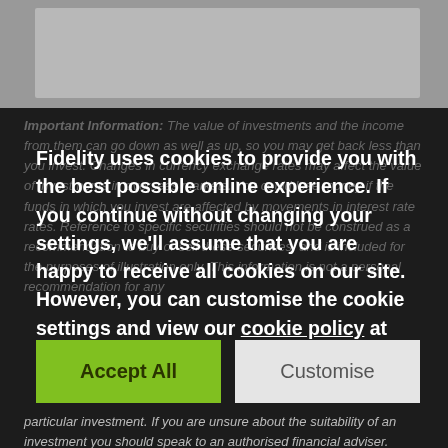[Figure (screenshot): Top grey banner image area of a Fidelity website page]
Important Information: The value of investments and the income from them can go down as well as up, so you may get back less than you invest. Changes in currency exchange rates may affect the value of investments in overseas markets. You could lose money if the funds in which you invest are affected by movements in interest rate rates. Reference to specific securities should not be construed as a recommendation to buy or sell these securities, and is included for the purposes of illustration only. This information is not a personal recommendation for any particular investment. If you are unsure about the suitability of an investment you should speak to an authorised financial adviser.
Fidelity uses cookies to provide you with the best possible online experience. If you continue without changing your settings, we'll assume that you are happy to receive all cookies on our site. However, you can customise the cookie settings and view our cookie policy at any time.